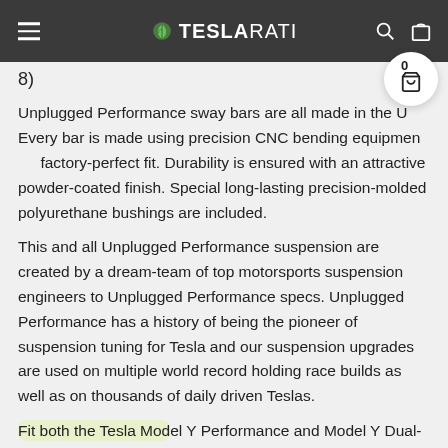TESLARATI
8)
Unplugged Performance sway bars are all made in the U... Every bar is made using precision CNC bending equipment factory-perfect fit. Durability is ensured with an attractive powder-coated finish. Special long-lasting precision-molded polyurethane bushings are included.
This and all Unplugged Performance suspension are created by a dream-team of top motorsports suspension engineers to Unplugged Performance specs. Unplugged Performance has a history of being the pioneer of suspension tuning for Tesla and our suspension upgrades are used on multiple world record holding race builds as well as on thousands of daily driven Teslas.
Fit both the Tesla Model Y Performance and Model Y Dual-Motor variants.  Compatibility with the Model Y Long Range will